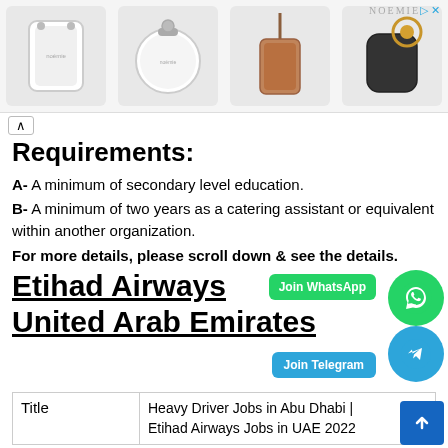[Figure (photo): Advertisement banner showing 4 white leather accessories (phone case, round coin purse, crossbody phone strap, AirPods case) with NOEMIE branding and close button]
Requirements:
A- A minimum of secondary level education.
B- A minimum of two years as a catering assistant or equivalent within another organization.
For more details, please scroll down & see the details.
Etihad Airways United Arab Emirates
| Title |  |
| --- | --- |
| Title | Heavy Driver Jobs in Abu Dhabi | Etihad Airways Jobs in UAE 2022 |